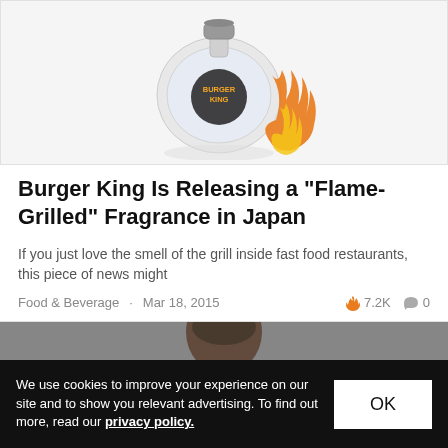[Figure (photo): Burger King flame-grilled fragrance bottle — a round glass perfume bottle with Burger King logo, with orange flames on the right side, on a white background]
Burger King Is Releasing a "Flame-Grilled" Fragrance in Japan
If you just love the smell of the grill inside fast food restaurants, this piece of news might
Food & Beverage   Mar 18, 2015   🔥 7.2K   💬 0
[Figure (photo): Partial photo of a person, bottom portion of the page]
We use cookies to improve your experience on our site and to show you relevant advertising. To find out more, read our privacy policy.